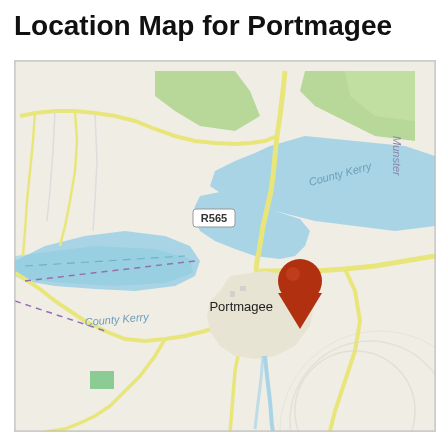Location Map for Portmagee
[Figure (map): OpenStreetMap-style location map centered on Portmagee, County Kerry, Ireland. Shows water bodies (tidal channels/harbors) in blue, green fields in upper area, roads including R565 route in yellow, dashed county boundary lines, and a red teardrop location pin marker on Portmagee village. Labels visible: R565 road badge, 'Portmagee' village name, 'County Kerry' appearing twice, 'Munster' in upper right.]